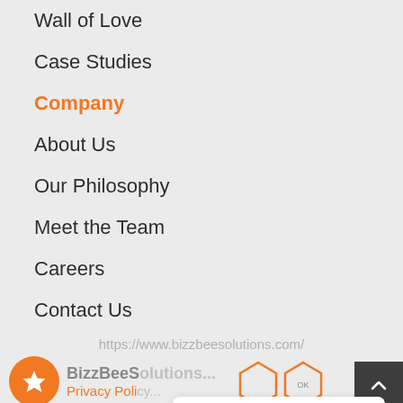Wall of Love
Case Studies
Company
About Us
Our Philosophy
Meet the Team
Careers
Contact Us
https://www.bizzbeesolutions.com/
© BizzBeeS... Privacy Poli...
[Figure (screenshot): We're offline chat popup with text 'Leave a message' and green chat icon button]